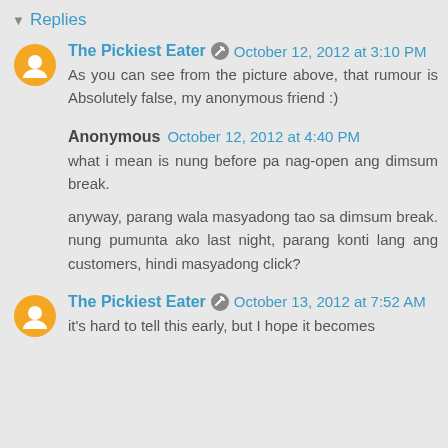Replies
The Pickiest Eater  October 12, 2012 at 3:10 PM
As you can see from the picture above, that rumour is Absolutely false, my anonymous friend :)
Anonymous  October 12, 2012 at 4:40 PM
what i mean is nung before pa nag-open ang dimsum break.
anyway, parang wala masyadong tao sa dimsum break. nung pumunta ako last night, parang konti lang ang customers, hindi masyadong click?
The Pickiest Eater  October 13, 2012 at 7:52 AM
it's hard to tell this early, but I hope it becomes